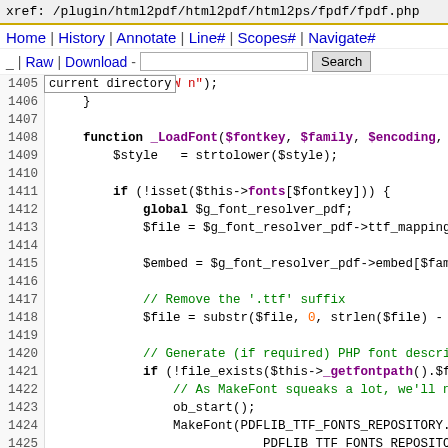xref: /plugin/html2pdf/html2pdf/html2ps/fpdf/fpdf.php
Home | History | Annotate | Line# | Scopes# | Navigate#
_ | Raw | Download [search box] Search
current directory
Code lines 1405-1429: PHP source code showing _LoadFont function